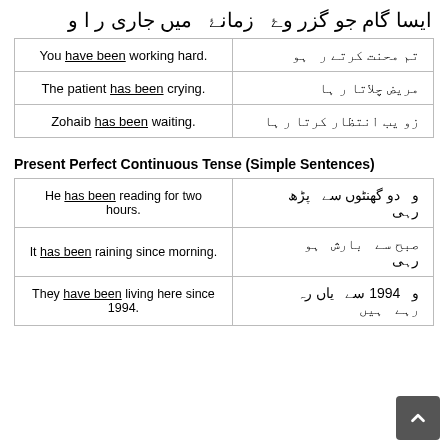ایسا گام جو گزر وۓ زمانۓ میں جاری ر ا و
| You have been working hard. | تم محنت کرتے ر ہو |
| The patient has been crying. | مریض چلاتا ر ہا |
| Zohaib has been waiting. | زو یب انتظار کرتا ر ہا |
Present Perfect Continuous Tense (Simple Sentences)
| He has been reading for two hours. | و دو گھنٹوں سے پڑھ رہی |
| It has been raining since morning. | صبح سے بارش ہو رہی |
| They have been living here since 1994. | و 1994 سے یاں رہ رہے ہیں |